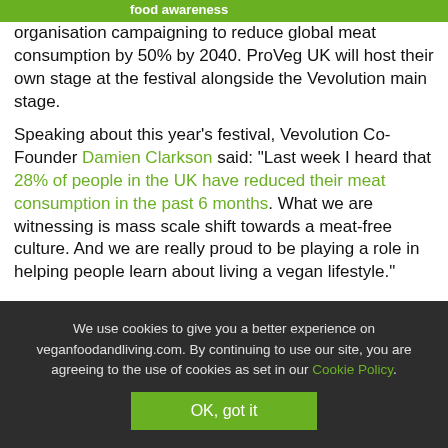food awareness
organisation campaigning to reduce global meat consumption by 50% by 2040. ProVeg UK will host their own stage at the festival alongside the Vevolution main stage.
Speaking about this year's festival, Vevolution Co-Founder Damien Clarkson said: "Last week I heard that 28% of people in the UK have reduced their meat consumption in the past 6 months. What we are witnessing is mass scale shift towards a meat-free culture. And we are really proud to be playing a role in helping people learn about living a vegan lifestyle."
We use cookies to give you a better experience on veganfoodandliving.com. By continuing to use our site, you are agreeing to the use of cookies as set in our Cookie Policy.